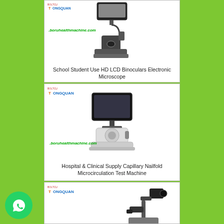[Figure (photo): School Student Use HD LCD Binoculars Electronic Microscope product photo with boruhealthmachine.com watermark and Tongquan logo]
School Student Use HD LCD Binoculars Electronic Microscope
[Figure (photo): Hospital & Clinical Supply Capillary Nailfold Microcirculation Test Machine product photo with boruhealthmachine.com watermark and Tongquan logo]
Hospital & Clinical Supply Capillary Nailfold Microcirculation Test Machine
[Figure (photo): Third product photo (partially visible) with Tongquan logo]